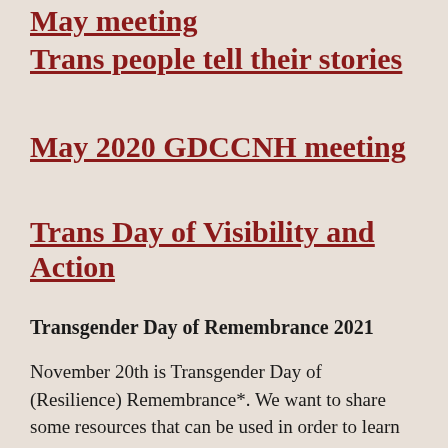May meeting
Trans people tell their stories
May 2020 GDCCNH meeting
Trans Day of Visibility and Action
Transgender Day of Remembrance 2021
November 20th is Transgender Day of (Resilience) Remembrance*. We want to share some resources that can be used in order to learn more, as well as support clients in their experience of TDOR and feelings to direct to next advisors.